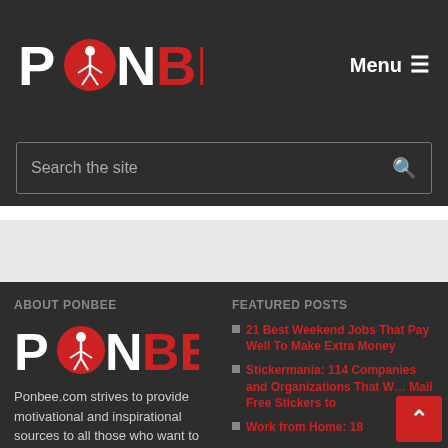PONBEE — Menu
[Figure (logo): PONBEE logo with stylized red circle containing a figure, white P and N letters, red BEE letters]
Search the site
ABOUT PONBEE
[Figure (logo): Large PONBEE logo footer version, white P and N, red BEE, red circle icon]
Ponbee.com strives to provide motivational and inspirational sources to all those who want to taste
FEATURED POSTS
21 Best Weekend Jobs That Pay Well To Make Extra Money
Stickermania: 114 Companies and Organizations That Will Mail Free Stickers to
Work from Home: 18